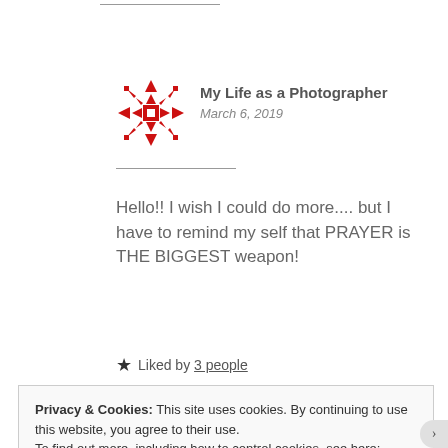[Figure (logo): Red geometric snowflake/quilt pattern logo for My Life as a Photographer blog]
My Life as a Photographer
March 6, 2019
Hello!! I wish I could do more.... but I have to remind my self that PRAYER is THE BIGGEST weapon!
★ Liked by 3 people
Privacy & Cookies: This site uses cookies. By continuing to use this website, you agree to their use.
To find out more, including how to control cookies, see here: Cookie Policy
Close and accept